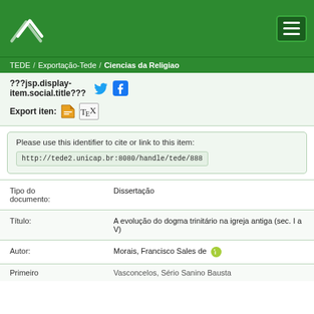TEDE / Exportação-Tede / Ciencias da Religiao
???jsp.display-item.social.title???
Export iten:
Please use this identifier to cite or link to this item: http://tede2.unicap.br:8080/handle/tede/888
| Field | Value |
| --- | --- |
| Tipo do documento: | Dissertação |
| Título: | A evolução do dogma trinitário na igreja antiga (sec. I a V) |
| Autor: | Morais, Francisco Sales de |
| Primeiro | Vasconcelos, Sério Sanino Bausta |